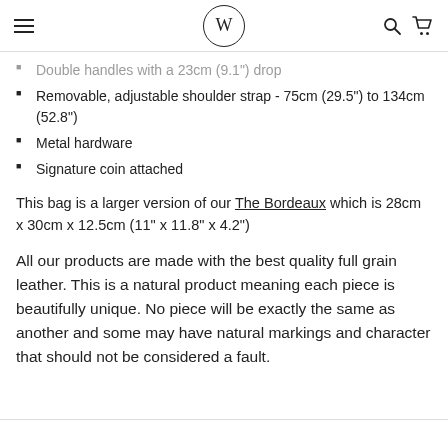W
Double handles with a 23cm (9.1") drop
Removable, adjustable shoulder strap - 75cm (29.5") to 134cm (52.8")
Metal hardware
Signature coin attached
This bag is a larger version of our The Bordeaux which is 28cm x 30cm x 12.5cm (11" x 11.8" x 4.2")
All our products are made with the best quality full grain leather. This is a natural product meaning each piece is beautifully unique. No piece will be exactly the same as another and some may have natural markings and character that should not be considered a fault.